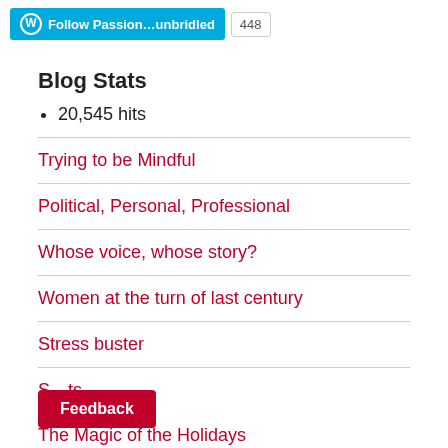Follow Passion...unbridled  448
Blog Stats
20,545 hits
Trying to be Mindful
Political, Personal, Professional
Whose voice, whose story?
Women at the turn of last century
Stress buster
S...ts
Feedback
The Magic of the Holidays